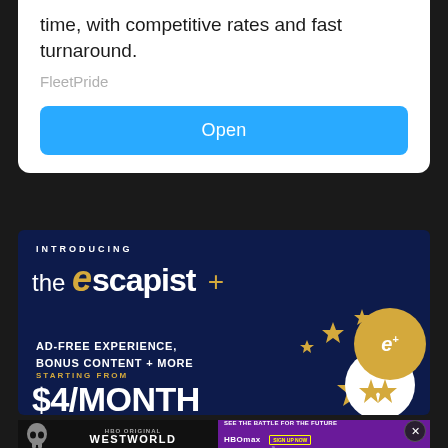time, with competitive rates and fast turnaround.
FleetPride
Open
[Figure (screenshot): The Escapist+ ad banner on dark navy background. Shows 'INTRODUCING the escapist +' branding with gold italic e logo, 'AD-FREE EXPERIENCE, BONUS CONTENT + MORE', 'STARTING FROM $4/MONTH', decorative gold stars, white circle and gold circle badge with stylized e+ logo.]
[Figure (screenshot): Westworld HBO ad banner showing skull graphic on left, WESTWORLD title in center, and HBO Max 'SEE THE BATTLE FOR THE FUTURE' text with sign up prompt on purple right side.]